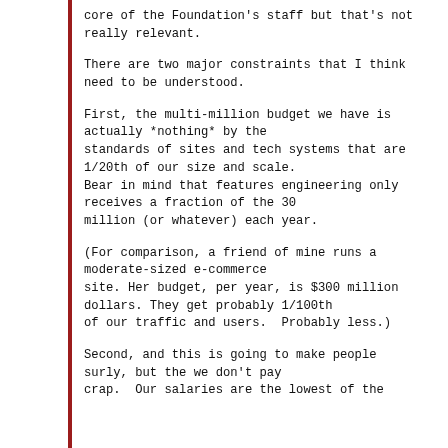core of the Foundation's staff but that's not really relevant.
There are two major constraints that I think need to be understood.
First, the multi-million budget we have is actually *nothing* by the standards of sites and tech systems that are 1/20th of our size and scale. Bear in mind that features engineering only receives a fraction of the 30 million (or whatever) each year.
(For comparison, a friend of mine runs a moderate-sized e-commerce site. Her budget, per year, is $300 million dollars. They get probably 1/100th of our traffic and users.  Probably less.)
Second, and this is going to make people surly, but the we don't pay crap.  Our salaries are the lowest of the